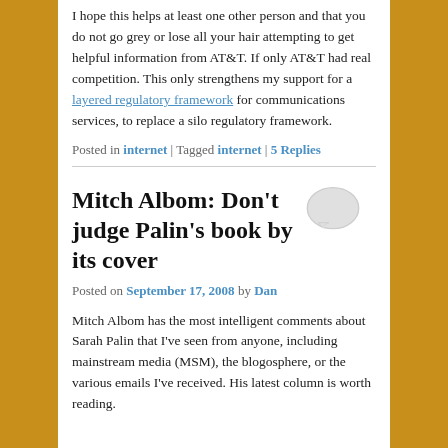I hope this helps at least one other person and that you do not go grey or lose all your hair attempting to get helpful information from AT&T. If only AT&T had real competition. This only strengthens my support for a layered regulatory framework for communications services, to replace a silo regulatory framework.
Posted in internet | Tagged internet | 5 Replies
Mitch Albom: Don't judge Palin's book by its cover
Posted on September 17, 2008 by Dan
Mitch Albom has the most intelligent comments about Sarah Palin that I've seen from anyone, including mainstream media (MSM), the blogosphere, or the various emails I've received. His latest column is worth reading.